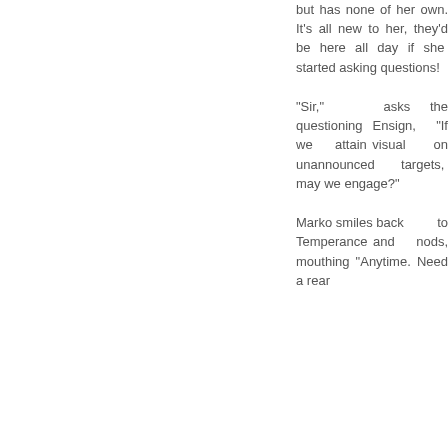but has none of her own. It's all new to her, they'd be here all day if she started asking questions!
"Sir," asks the questioning Ensign, "If we attain visual on unannounced targets, may we engage?"
Marko smiles back to Temperance and nods, mouthing "Anytime. Need a rear